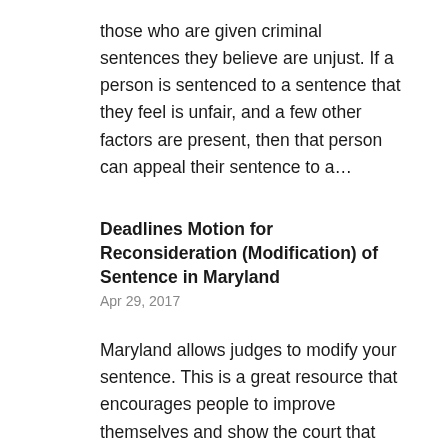those who are given criminal sentences they believe are unjust. If a person is sentenced to a sentence that they feel is unfair, and a few other factors are present, then that person can appeal their sentence to a...
Deadlines Motion for Reconsideration (Modification) of Sentence in Maryland
Apr 29, 2017
Maryland allows judges to modify your sentence. This is a great resource that encourages people to improve themselves and show the court that they deserve a second chance. The judge does not have to modify your sentence. However, if granted the modification could...